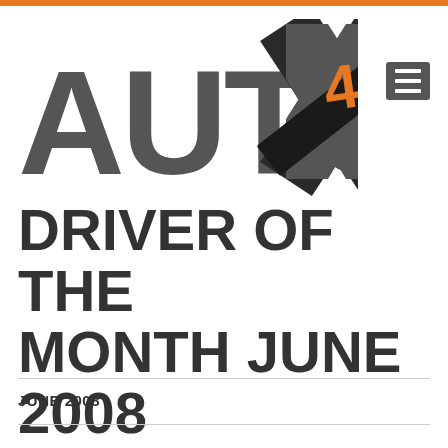[Figure (logo): AutoX4U logo with large grey AUTOX text, a diagonal black band across the X, and orange '4U' text overlapping the band, plus a grey hamburger menu icon to the right]
DRIVER OF THE MONTH JUNE 2008
JUNE 2008